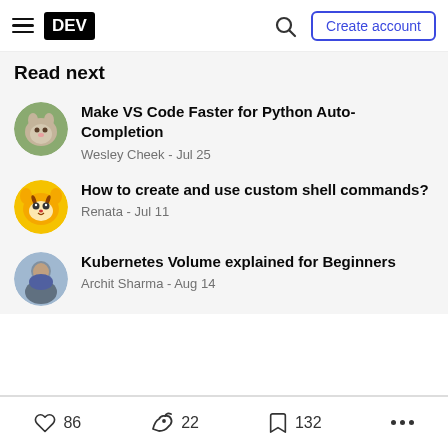DEV — Create account
Read next
Make VS Code Faster for Python Auto-Completion
Wesley Cheek - Jul 25
How to create and use custom shell commands?
Renata - Jul 11
Kubernetes Volume explained for Beginners
Archit Sharma - Aug 14
86  22  132  ...